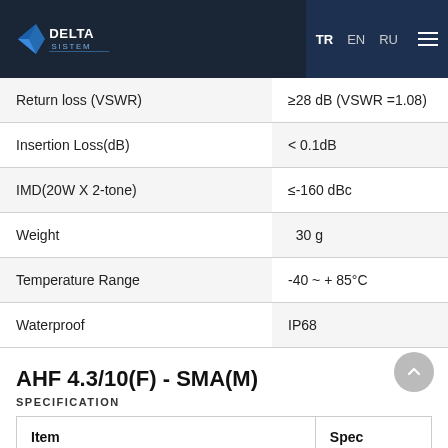Delta Sistem — TR | EN | RU
| Item | Spec |
| --- | --- |
| Return loss (VSWR) | ≥28 dB (VSWR =1.08) |
| Insertion Loss(dB) | < 0.1dB |
| IMD(20W X 2-tone) | ≤-160 dBc |
| Weight | 30 g |
| Temperature Range | -40 ~ + 85°C |
| Waterproof | IP68 |
AHF 4.3/10(F) - SMA(M)
SPECIFICATION
| Item | Spec |
| --- | --- |